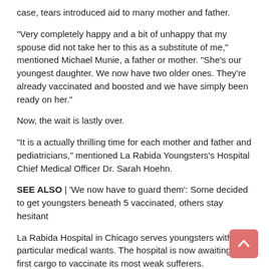case, tears introduced aid to many mother and father.
“Very completely happy and a bit of unhappy that my spouse did not take her to this as a substitute of me,” mentioned Michael Munie, a father or mother. “She’s our youngest daughter. We now have two older ones. They’re already vaccinated and boosted and we have simply been ready on her.”
Now, the wait is lastly over.
“It is a actually thrilling time for each mother and father and pediatricians,” mentioned La Rabida Youngsters’s Hospital Chief Medical Officer Dr. Sarah Hoehn.
SEE ALSO | ‘We now have to guard them’: Some decided to get youngsters beneath 5 vaccinated, others stay hesitant
La Rabida Hospital in Chicago serves youngsters with particular medical wants. The hospital is now awaiting its first cargo to vaccinate its most weak sufferers.